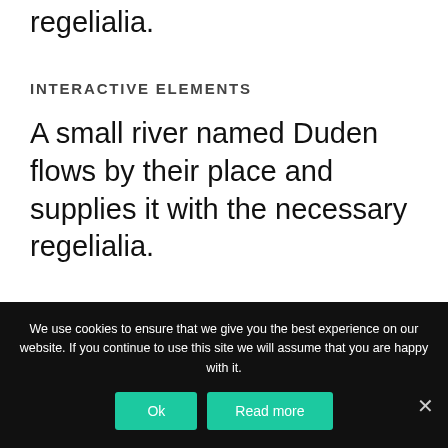regelialia.
INTERACTIVE ELEMENTS
A small river named Duden flows by their place and supplies it with the necessary regelialia.
We use cookies to ensure that we give you the best experience on our website. If you continue to use this site we will assume that you are happy with it.